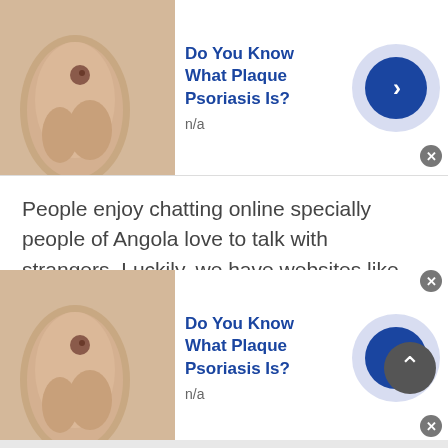[Figure (photo): Ad banner top: skin close-up photo on left, bold blue title 'Do You Know What Plaque Psoriasis Is?', subtitle 'n/a', dark blue circular arrow button on right]
People enjoy chatting online specially people of Angola love to talk with strangers. Luckily, we have websites like Talkwithstranger where one can chat with people of Angola or any other country through anonymous chat online.Chat lovers usually connect and meet new people online because man is a social animal they love to chat with people of Angola. A person must socialize to prosper in the world. This social network helps a person to live their life
[Figure (photo): Ad banner bottom: skin close-up photo on left, bold blue title 'Do You Know What Plaque Psoriasis Is?', subtitle 'n/a', dark blue circular arrow button on right]